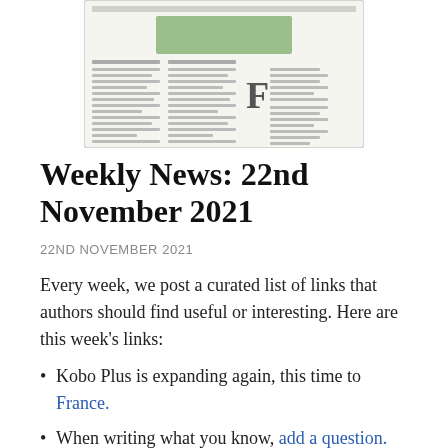[Figure (illustration): Illustration of a newspaper front page with columns of text and a green rectangular image at the top center, with a large letter F visible in the lower right area.]
Weekly News: 22nd November 2021
22ND NOVEMBER 2021
Every week, we post a curated list of links that authors should find useful or interesting. Here are this week’s links:
Kobo Plus is expanding again, this time to France.
When writing what you know, add a question.